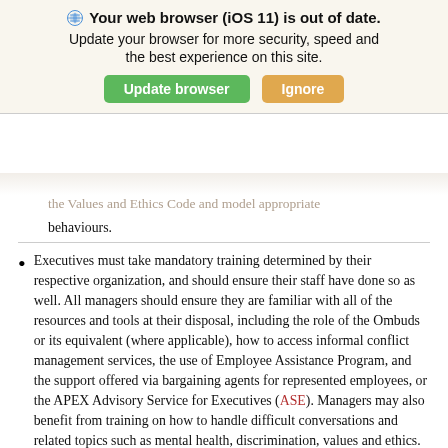[Figure (screenshot): Browser update notification banner: icon, bold title 'Your web browser (iOS 11) is out of date.', subtitle 'Update your browser for more security, speed and the best experience on this site.', green 'Update browser' button and orange 'Ignore' button. APEX watermark visible behind.]
the Values and Ethics Code and model appropriate behaviours.
Executives must take mandatory training determined by their respective organization, and should ensure their staff have done so as well. All managers should ensure they are familiar with all of the resources and tools at their disposal, including the role of the Ombuds or its equivalent (where applicable), how to access informal conflict management services, the use of Employee Assistance Program, and the support offered via bargaining agents for represented employees, or the APEX Advisory Service for Executives (ASE). Managers may also benefit from training on how to handle difficult conversations and related topics such as mental health, discrimination, values and ethics.
Executives should also be aware of evolving